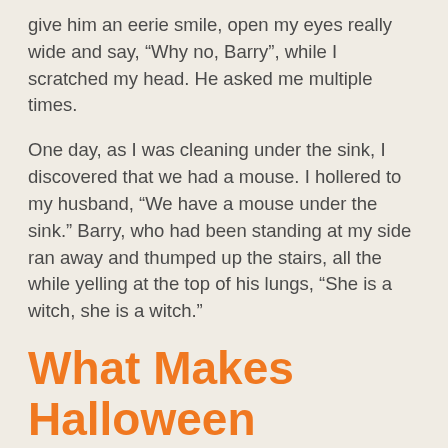give him an eerie smile, open my eyes really wide and say, “Why no, Barry”, while I scratched my head. He asked me multiple times.
One day, as I was cleaning under the sink, I discovered that we had a mouse. I hollered to my husband, “We have a mouse under the sink.” Barry, who had been standing at my side ran away and thumped up the stairs, all the while yelling at the top of his lungs, “She is a witch, she is a witch.”
What Makes Halloween Special?
As funny as that story is, and we still laugh about it, I realized that as much as my children liked the trick or treating they were scared by all the posters, window